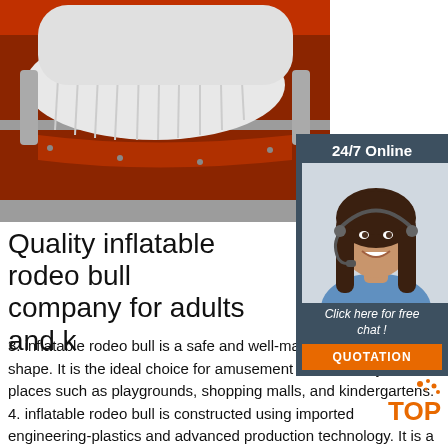[Figure (photo): Photo of an inflatable rodeo bull product — red base with white/grey inflatable structure, viewed from above at an angle.]
[Figure (photo): 24/7 Online chat widget with a smiling woman wearing a headset, 'Click here for free chat!' text, and an orange QUOTATION button.]
Quality inflatable rodeo bull company for adults and k…
3. inflatable rodeo bull is a safe and well-made product of good shape. It is the ideal choice for amusement and is widely used in places such as playgrounds, shopping malls, and kindergartens. 4. inflatable rodeo bull is constructed using imported engineering-plastics and advanced production technology. It is a well-made and
[Figure (logo): TOP logo with orange dots and text]